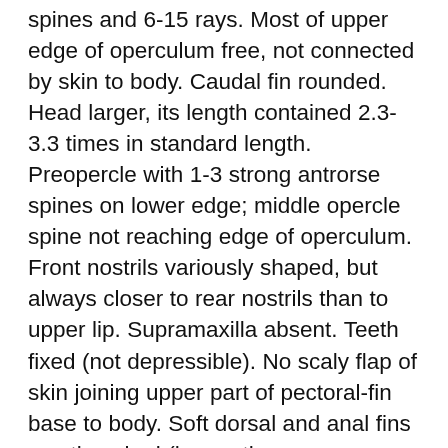spines and 6-15 rays. Most of upper edge of operculum free, not connected by skin to body. Caudal fin rounded. Head larger, its length contained 2.3-3.3 times in standard length. Preopercle with 1-3 strong antrorse spines on lower edge; middle opercle spine not reaching edge of operculum. Front nostrils variously shaped, but always closer to rear nostrils than to upper lip. Supramaxilla absent. Teeth fixed (not depressible). No scaly flap of skin joining upper part of pectoral-fin base to body. Soft dorsal and anal fins mostly naked (hence the rays are easy to count). Preopercle not expanded posteriorly, the serrae at the angle only slightly enlarged. Upper jaw moderately protrusile; jaw teeth distinct; vomer and palatines with teeth. Body depth 27-48%